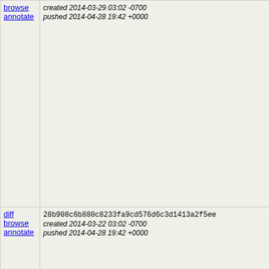|  | Commit | Author | Message |
| --- | --- | --- | --- |
| browse
annotate | created 2014-03-29 03:02 -0700
pushed 2014-04-28 19:42 +0000 | seabld | Automatically blocklist update from host sea-vm-linux32-2 CLOSED TREE a=blocklist update |
| diff
browse
annotate | 28b908c6b880c8233fa9cd576d6c3d1413a2f5ee
created 2014-03-22 03:02 -0700
pushed 2014-04-28 19:42 +0000 | seabld | seabld - Automatically blocklist update from host sea-vm-linux32-5 CLOSED TREE a=blocklist update |
| diff
browse
annotate | b446d67f4a2278bf1faea939b88945f00f3cdaa0
created 2014-03-08 04:24 -0800
pushed 2014-03-18 07:44 +0000 | seabld | seabld - Automatically blocklist update from host sea-vm-linux32-1 CLOSED TREE a=blocklist update |